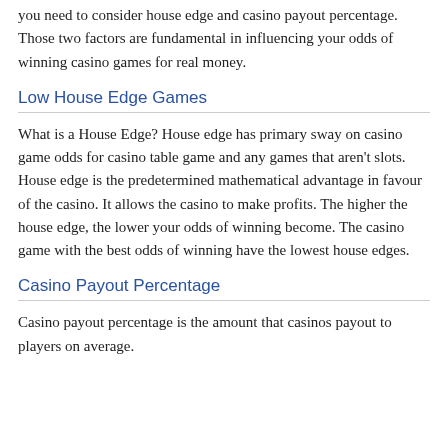you need to consider house edge and casino payout percentage. Those two factors are fundamental in influencing your odds of winning casino games for real money.
Low House Edge Games
What is a House Edge? House edge has primary sway on casino game odds for casino table game and any games that aren't slots. House edge is the predetermined mathematical advantage in favour of the casino. It allows the casino to make profits. The higher the house edge, the lower your odds of winning become. The casino game with the best odds of winning have the lowest house edges.
Casino Payout Percentage
Casino payout percentage is the amount that casinos payout to players on average.